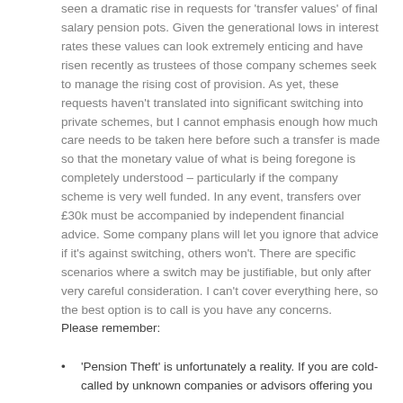seen a dramatic rise in requests for 'transfer values' of final salary pension pots. Given the generational lows in interest rates these values can look extremely enticing and have risen recently as trustees of those company schemes seek to manage the rising cost of provision. As yet, these requests haven't translated into significant switching into private schemes, but I cannot emphasis enough how much care needs to be taken here before such a transfer is made so that the monetary value of what is being foregone is completely understood – particularly if the company scheme is very well funded. In any event, transfers over £30k must be accompanied by independent financial advice. Some company plans will let you ignore that advice if it's against switching, others won't. There are specific scenarios where a switch may be justifiable, but only after very careful consideration. I can't cover everything here, so the best option is to call is you have any concerns.
Please remember:
'Pension Theft' is unfortunately a reality. If you are cold-called by unknown companies or advisors offering you